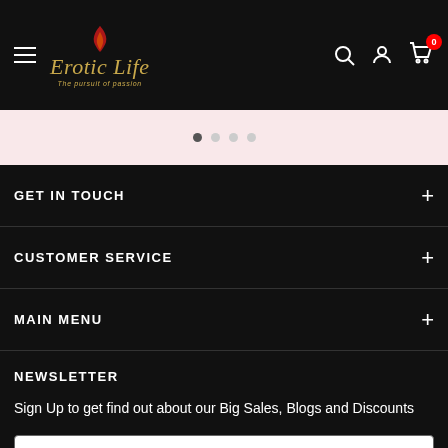[Figure (logo): Erotic Life logo with flame icon, gold italic script text and tagline 'The pursuit of passion']
Navigation header with hamburger menu, Erotic Life logo, search, account, and cart icons (0 items)
[Figure (other): Pink strip with carousel dot indicators (4 dots, first active)]
GET IN TOUCH
CUSTOMER SERVICE
MAIN MENU
NEWSLETTER
Sign Up to get find out about our Big Sales, Blogs and Discounts
Your email